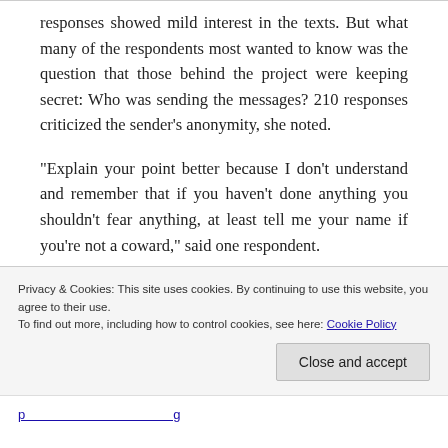responses showed mild interest in the texts. But what many of the respondents most wanted to know was the question that those behind the project were keeping secret: Who was sending the messages? 210 responses criticized the sender's anonymity, she noted.
“Explain your point better because I don’t understand and remember that if you haven’t done anything you shouldn’t fear anything, at least tell me your name if you’re not a coward,” said one respondent.
Privacy & Cookies: This site uses cookies. By continuing to use this website, you agree to their use.
To find out more, including how to control cookies, see here: Cookie Policy
Close and accept